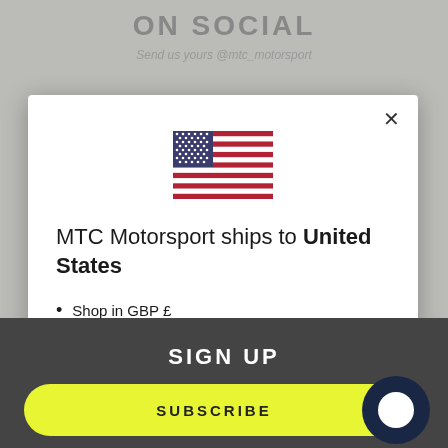ON SOCIAL
Send us yours @mtc_motorsport
[Figure (illustration): US flag emoji/icon centered in modal dialog]
MTC Motorsport ships to United States
Shop in GBP £
Get shipping options for United States
Shop now
SIGN UP
SUBSCRIBE